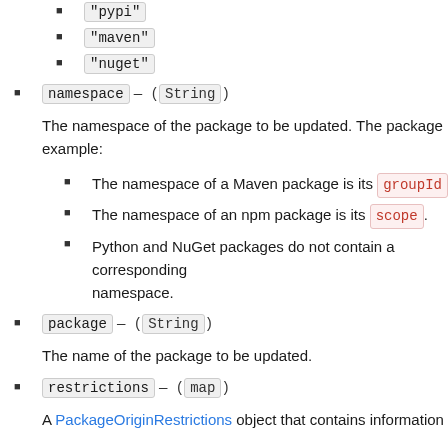"pypi"
"maven"
"nuget"
namespace — (String)
The namespace of the package to be updated. The package example:
The namespace of a Maven package is its groupId
The namespace of an npm package is its scope.
Python and NuGet packages do not contain a corresponding namespace.
package — (String)
The name of the package to be updated.
restrictions — (map)
A PackageOriginRestrictions object that contains information